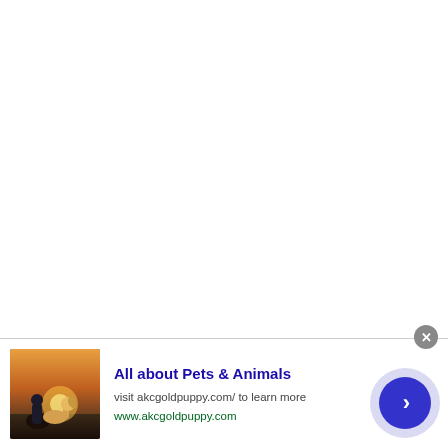[Figure (photo): Advertisement banner showing a person sitting with a golden retriever dog at sunset, with ad text for akcgoldpuppy.com]
All about Pets & Animals
visit akcgoldpuppy.com/ to learn more
www.akcgoldpuppy.com